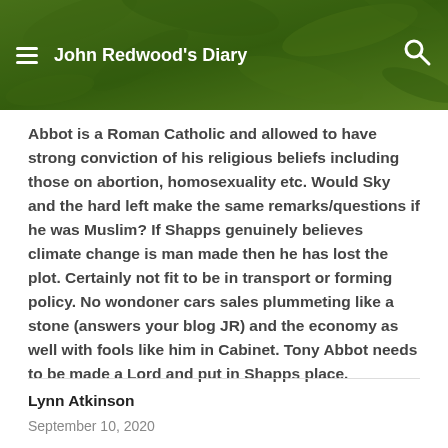John Redwood's Diary
Abbot is a Roman Catholic and allowed to have strong conviction of his religious beliefs including those on abortion, homosexuality etc. Would Sky and the hard left make the same remarks/questions if he was Muslim? If Shapps genuinely believes climate change is man made then he has lost the plot. Certainly not fit to be in transport or forming policy. No wondoner cars sales plummeting like a stone (answers your blog JR) and the economy as well with fools like him in Cabinet. Tony Abbot needs to be made a Lord and put in Shapps place.
Lynn Atkinson
September 10, 2020